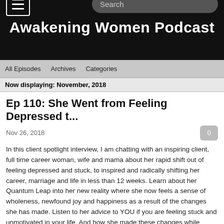Awakening Women Podcast
All Episodes   Archives   Categories
Now displaying: November, 2018
Ep 110: She Went from Feeling Depressed t...
Nov 26, 2018
In this client spotlight interview, I am chatting with an inspiring client, full time career woman, wife and mama about her rapid shift out of feeling depressed and stuck, to inspired and radically shifting her career, marriage and life in less than 12 weeks. Learn about her Quantum Leap into her new reality where she now feels a sense of wholeness, newfound joy and happiness as a result of the changes she has made. Listen to her advice to YOU if you are feeling stuck and unmotivated in your life. And how she made these changes while working full time, having her kids home over summer break, managing her household, and how you can drop the excuses and make